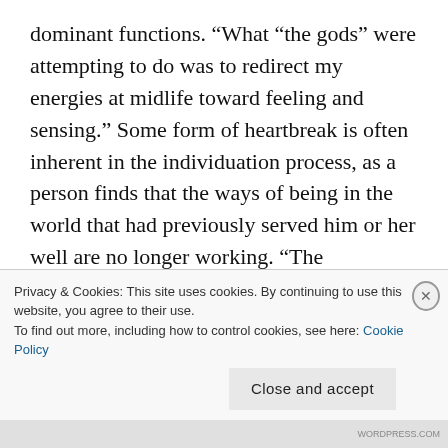dominant functions. “What “the gods” were attempting to do was to redirect my energies at midlife toward feeling and sensing.” Some form of heartbreak is often inherent in the individuation process, as a person finds that the ways of being in the world that had previously served him or her well are no longer working. “The individuation process begins with a psychological “death,” a descent into the unconscious, for the purpose of “resurrecting” that which was lost to consciousness, namely our connection to the life-giving aspect of the psyche,” Croft writes, while
Privacy & Cookies: This site uses cookies. By continuing to use this website, you agree to their use.
To find out more, including how to control cookies, see here: Cookie Policy
Close and accept